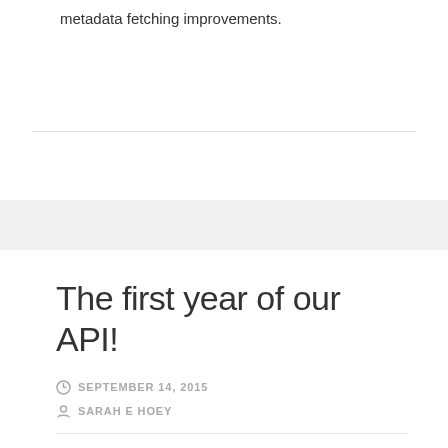metadata fetching improvements.
The first year of our API!
SEPTEMBER 14, 2015
SARAH E HOEY
In September 2014, after 12 months of hard work